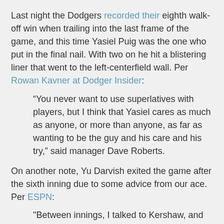Last night the Dodgers recorded their eighth walk-off win when trailing into the last frame of the game, and this time Yasiel Puig was the one who put in the final nail. With two on he hit a blistering liner that went to the left-centerfield wall. Per Rowan Kavner at Dodger Insider:
“You never want to use superlatives with players, but I think that Yasiel cares as much as anyone, or more than anyone, as far as wanting to be the guy and his care and his try,” said manager Dave Roberts.
On another note, Yu Darvish exited the game after the sixth inning due to some advice from our ace. Per ESPN:
"Between innings, I talked to Kershaw, and he asked me, 'How do you feel?' " Darvish said through an interpreter. "I told him, 'I feel something in my back,' and he said, 'We need you really bad in six weeks.'
Photo above of Yasiel Puig via @Dodgers/ Jon SooHoo on